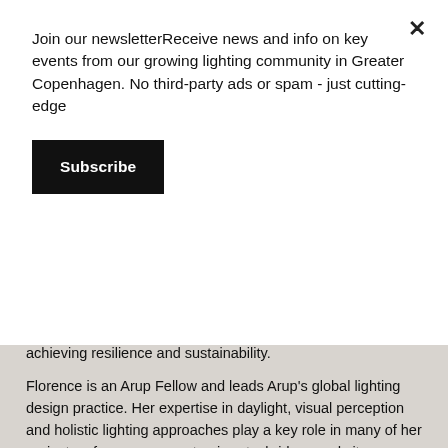Join our newsletterReceive news and info on key events from our growing lighting community in Greater Copenhagen. No third-party ads or spam - just cutting-edge
Subscribe
achieving resilience and sustainability.
Florence is an Arup Fellow and leads Arup's global lighting design practice. Her expertise in daylight, visual perception and holistic lighting approaches play a key role in many of her projects – from museums to airports, bridges and city precincts. Florence was responsible for delivering a range of lighting projects for the London Olympic Games in 2012. As a lighting designer she has a strong interest in visual light art and has collaborated with various artists and architects on public projects including Anish Kapoor's ArcelorMittal Orbit in London, the World's Largest Timepiece in Zurich